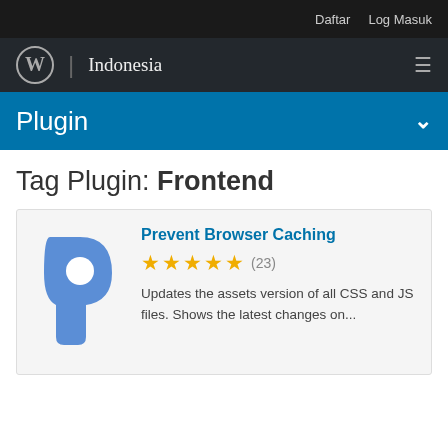Daftar  Log Masuk
WordPress | Indonesia
Plugin
Tag Plugin: Frontend
Prevent Browser Caching
★★★★★ (23)
Updates the assets version of all CSS and JS files. Shows the latest changes on...